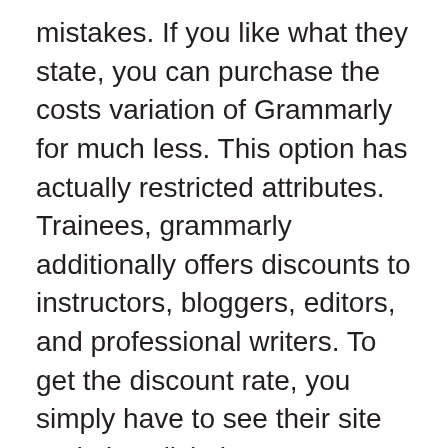mistakes. If you like what they state, you can purchase the costs variation of Grammarly for much less. This option has actually restricted attributes. Trainees, grammarly additionally offers discounts to instructors, bloggers, editors, and professional writers. To get the discount rate, you simply have to see their site and also click the ‘Get Started’ switch. Once you do, you will certainly be guided to the selection page where you can pick the strategy that fits your needs.
If you are a pupil, you might wish to obtain a discount for utilizing Grammarly. There are several web sites that offer pupil discounts. Several of these web sites assert to be companions with Grammarly and also deal discounts of 20-40%. However, the discounts